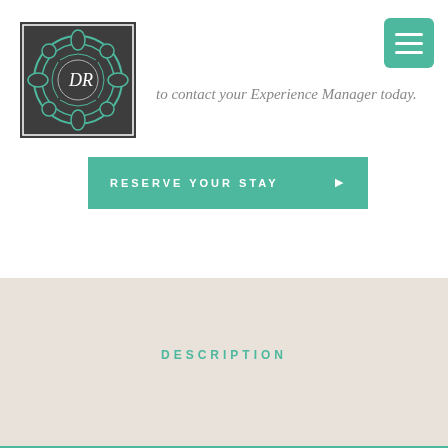[Figure (logo): DR monogram logo in teal mandala/ornamental design on dark grey background with white border frame]
[Figure (other): Teal hamburger menu button with three white horizontal lines]
to contact your Experience Manager today.
RESERVE YOUR STAY ▶
DESCRIPTION